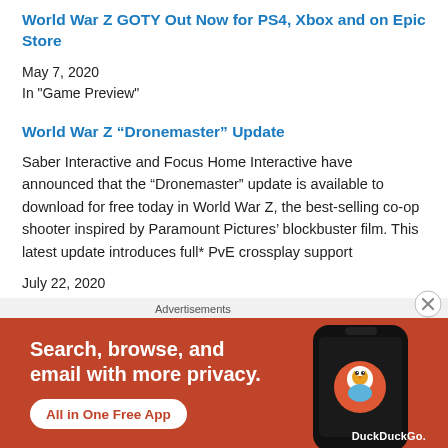World War Z GOTY Out Now for PS4, Xbox and on Epic Store
May 7, 2020
In "Game Preview"
World War Z “Dronemaster” Update
Saber Interactive and Focus Home Interactive have announced that the “Dronemaster” update is available to download for free today in World War Z, the best-selling co-op shooter inspired by Paramount Pictures’ blockbuster film. This latest update introduces full* PvE crossplay support
July 22, 2020
In "Gaming News"
Advertisements
[Figure (illustration): DuckDuckGo advertisement banner: orange background with white bold text 'Search, browse, and email with more privacy.' and a white pill button saying 'All in One Free App' in orange text. Right side shows a dark phone with DuckDuckGo logo and label.]